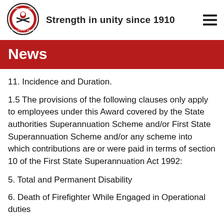[Figure (logo): Fire Brigade Employees Union circular logo with firefighter emblem and text around the border]
Strength in unity since 1910
News
11. Incidence and Duration.
1.5 The provisions of the following clauses only apply to employees under this Award covered by the State authorities Superannuation Scheme and/or First State Superannuation Scheme and/or any scheme into which contributions are or were paid in terms of section 10 of the First State Superannuation Act 1992:
5. Total and Permanent Disability
6. Death of Firefighter While Engaged in Operational duties